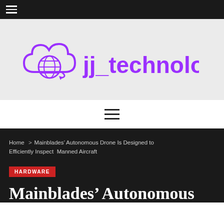[Figure (logo): jj_technology logo with purple cloud and globe icon and purple bold text jj_technology]
Home > Mainblades' Autonomous Drone Is Designed to Efficiently Inspect Manned Aircraft
HARDWARE
Mainblades' Autonomous